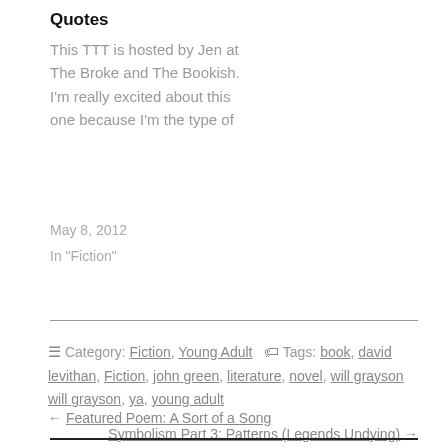Quotes
This TTT is hosted by Jen at The Broke and The Bookish. I'm really excited about this one because I'm the type of
May 8, 2012
In "Fiction"
☰ Category: Fiction, Young Adult  🏷 Tags: book, david levithan, Fiction, john green, literature, novel, will grayson will grayson, ya, young adult
← Featured Poem: A Sort of a Song
Symbolism Part 3: Patterns (Legends Undying) →